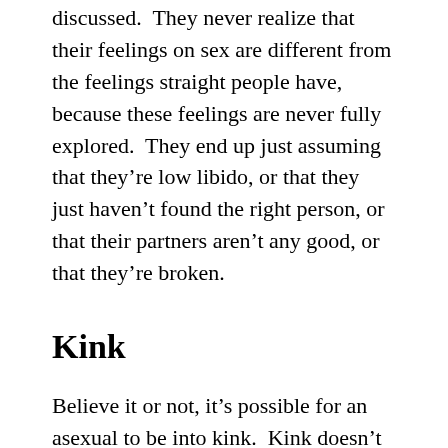discussed.  They never realize that their feelings on sex are different from the feelings straight people have, because these feelings are never fully explored.  They end up just assuming that they're low libido, or that they just haven't found the right person, or that their partners aren't any good, or that they're broken.
Kink
Believe it or not, it's possible for an asexual to be into kink.  Kink doesn't have to be about sex and doesn't have to lead to sex.  Kink is big on consent and setting boundaries.  If a li...